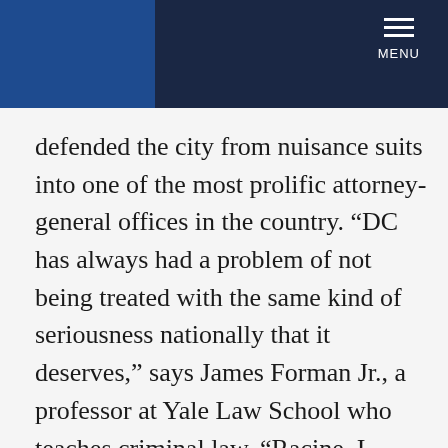MENU
defended the city from nuisance suits into one of the most prolific attorney-general offices in the country. “DC has always had a problem of not being treated with the same kind of seriousness nationally that it deserves,” says James Forman Jr., a professor at Yale Law School who teaches criminal law. “Racine, I think, is changing that. He’s taken what’s a new office, in essence, and become a player on the